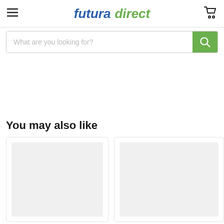futura direct
What are you looking for?
You may also like
[Figure (other): Two product card placeholders with light gray image areas]
[Figure (other): Second product card placeholder with light gray image area]